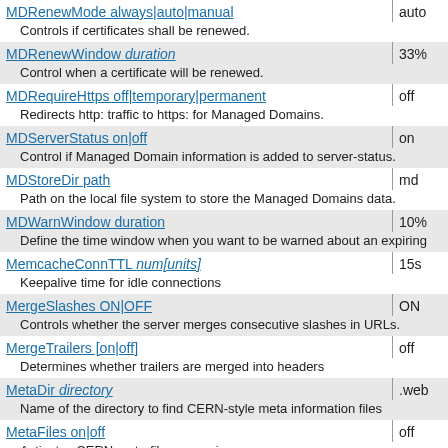MDRenewMode always|auto|manual | auto
Controls if certificates shall be renewed.
MDRenewWindow duration | 33%
Control when a certificate will be renewed.
MDRequireHttps off|temporary|permanent | off
Redirects http: traffic to https: for Managed Domains.
MDServerStatus on|off | on
Control if Managed Domain information is added to server-status.
MDStoreDir path | md
Path on the local file system to store the Managed Domains data.
MDWarnWindow duration | 10%
Define the time window when you want to be warned about an expiring
MemcacheConnTTL num[units] | 15s
Keepalive time for idle connections
MergeSlashes ON|OFF | ON
Controls whether the server merges consecutive slashes in URLs.
MergeTrailers [on|off] | off
Determines whether trailers are merged into headers
MetaDir directory | .web
Name of the directory to find CERN-style meta information files
MetaFiles on|off | off
Activates CERN meta-file processing